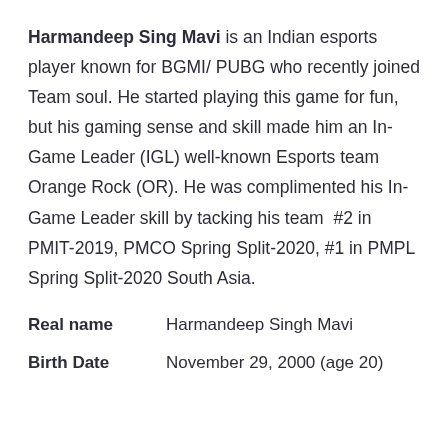Harmandeep Sing Mavi is an Indian esports player known for BGMI/ PUBG who recently joined Team soul. He started playing this game for fun, but his gaming sense and skill made him an In-Game Leader (IGL) well-known Esports team Orange Rock (OR). He was complimented his In-Game Leader skill by tacking his team  #2 in PMIT-2019, PMCO Spring Split-2020, #1 in PMPL Spring Split-2020 South Asia.
| Real name | Harmandeep Singh Mavi |
| Birth Date | November 29, 2000 (age 20) |